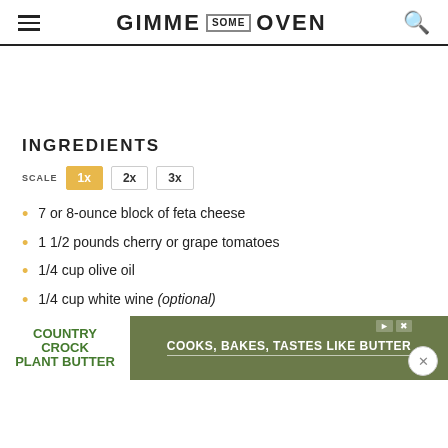GIMME SOME OVEN
INGREDIENTS
SCALE 1x 2x 3x
7 or 8-ounce block of feta cheese
1 1/2 pounds cherry or grape tomatoes
1/4 cup olive oil
1/4 cup white wine (optional)
1/2 ...
fine sea salt and freshly-cracked black pepper
[Figure (other): Country Crock Plant Butter advertisement banner: COOKS, BAKES, TASTES LIKE BUTTER]